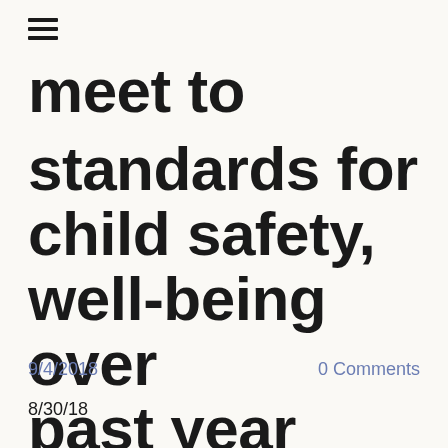≡
meet to standards for child safety, well-being over past year
9/4/2018
0 Comments
8/30/18